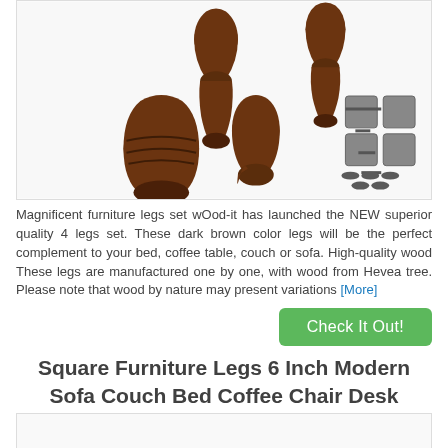[Figure (photo): Dark brown wooden furniture legs (set of 4) with mounting hardware including metal brackets, screws, and felt pads]
Magnificent furniture legs set wOod-it has launched the NEW superior quality 4 legs set. These dark brown color legs will be the perfect complement to your bed, coffee table, couch or sofa. High-quality wood These legs are manufactured one by one, with wood from Hevea tree. Please note that wood by nature may present variations [More]
Square Furniture Legs 6 Inch Modern Sofa Couch Bed Coffee Chair Desk
[Figure (photo): Bottom portion of product image (partially visible)]